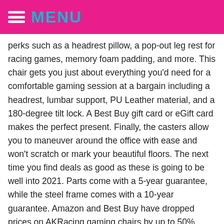MENU
perks such as a headrest pillow, a pop-out leg rest for racing games, memory foam padding, and more. This chair gets you just about everything you'd need for a comfortable gaming session at a bargain including a headrest, lumbar support, PU Leather material, and a 180-degree tilt lock. A Best Buy gift card or eGift card makes the perfect present. Finally, the casters allow you to maneuver around the office with ease and won't scratch or mark your beautiful floors. The next time you find deals as good as these is going to be well into 2021. Parts come with a 5-year guarantee, while the steel frame comes with a 10-year guarantee. Amazon and Best Buy have dropped prices on AKRacing gaming chairs by up to 50%, bringing them down to the lowest prices they've ever been, by â¦ When the dust settled and our sore backs recovered, the AKRacing Core EX Gaming Chair (available at Walmart for $329.00) emerged as our top pick thanks to its adjustability and long-term comfort. The AKRacing Master Series Pro is one of the best and most expensive gaming chairs you can buy. Sign up. Its cold-cured foam filling, adjustable backrest, and